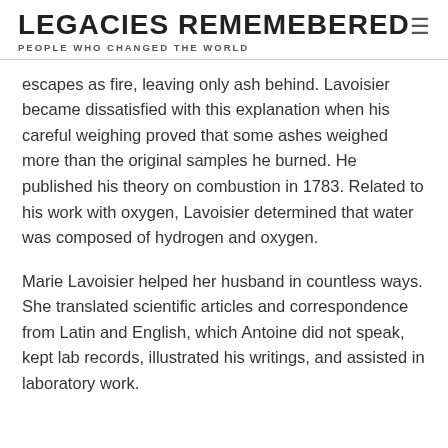LEGACIES REMEMEBERED
PEOPLE WHO CHANGED THE WORLD
escapes as fire, leaving only ash behind. Lavoisier became dissatisfied with this explanation when his careful weighing proved that some ashes weighed more than the original samples he burned. He published his theory on combustion in 1783. Related to his work with oxygen, Lavoisier determined that water was composed of hydrogen and oxygen.
Marie Lavoisier helped her husband in countless ways. She translated scientific articles and correspondence from Latin and English, which Antoine did not speak, kept lab records, illustrated his writings, and assisted in laboratory work.